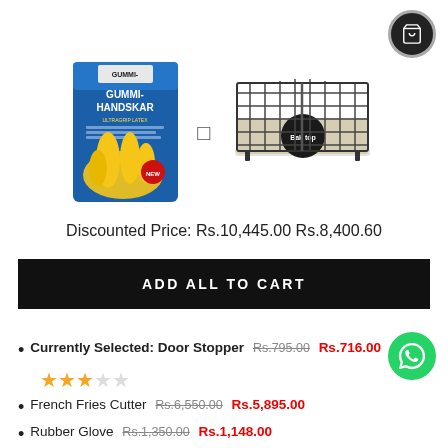[Figure (photo): Product image of rubber gloves (Gummi-Handskar) on left and a wire mesh basket/tray on the right, separated by a plus icon]
Discounted Price: Rs.10,445.00 Rs.8,400.60
ADD ALL TO CART
Currently Selected: Door Stopper Rs.795.00 Rs.716.00 (3 stars out of 5)
French Fries Cutter Rs.6,550.00 Rs.5,895.00
Rubber Glove Rs.1,350.00 Rs.1,148.00